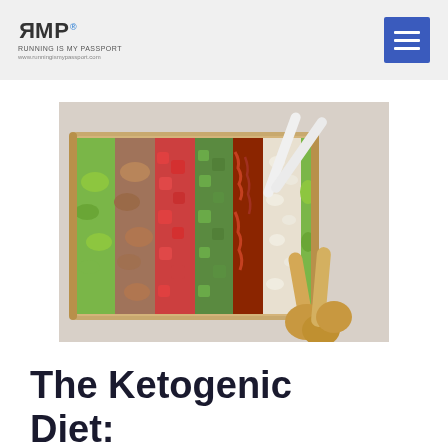RMP Running Is My Passport www.runningismypassport.com
[Figure (photo): Cobb salad arranged in a wooden tray with rows of ingredients: chopped lettuce, grilled chicken, diced tomatoes, avocado, bacon, blue cheese crumbles, and more lettuce. Two white and wooden salad servers cross over the tray.]
The Ketogenic Diet: